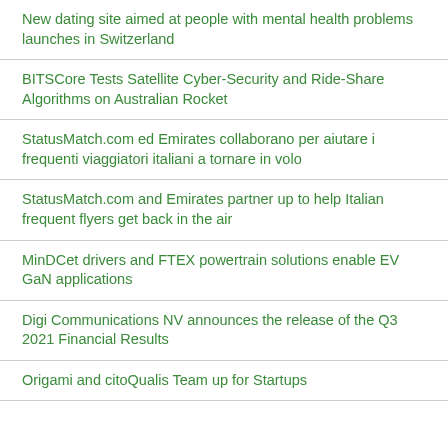New dating site aimed at people with mental health problems launches in Switzerland
BITSCore Tests Satellite Cyber-Security and Ride-Share Algorithms on Australian Rocket
StatusMatch.com ed Emirates collaborano per aiutare i frequenti viaggiatori italiani a tornare in volo
StatusMatch.com and Emirates partner up to help Italian frequent flyers get back in the air
MinDCet drivers and FTEX powertrain solutions enable EV GaN applications
Digi Communications NV announces the release of the Q3 2021 Financial Results
Origami and citoQualis Team up for Startups